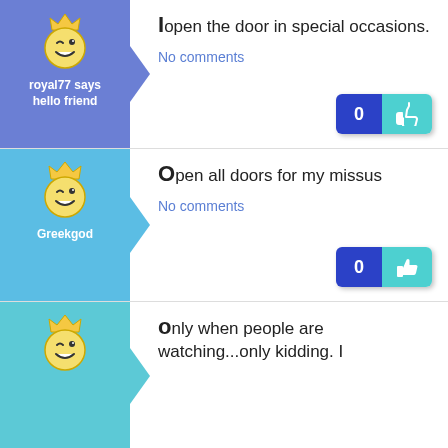[Figure (illustration): User avatar for royal77: winking smiley face with crown on blue-purple background panel with arrow tab]
royal77 says hello friend
I open the door in special occasions.
No comments
[Figure (illustration): Vote button showing 0 count and thumbs up icon]
[Figure (illustration): User avatar for Greekgod: winking smiley face with crown on light blue background panel with arrow tab]
Greekgod
Open all doors for my missus
No comments
[Figure (illustration): Vote button showing 0 count and thumbs up icon]
[Figure (illustration): User avatar on teal/cyan background panel with arrow tab]
Only when people are watching...only kidding. I